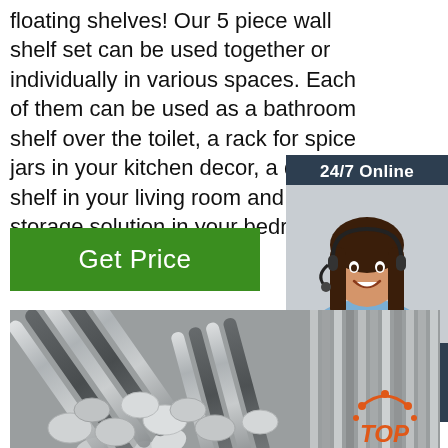floating shelves! Our 5 piece wall shelf set can be used together or individually in various spaces. Each of them can be used as a bathroom shelf over the toilet, a rack for spice jars in your kitchen decor, a display shelf in your living room and a storage solution in your bedroom d
Get Price
[Figure (photo): Customer service representative woman with headset, 24/7 Online badge, Click here for free chat text, and QUOTATION button on dark blue background]
[Figure (photo): Bundle of metal steel rods/bars stacked together, industrial material photo with TOP badge in lower right corner]